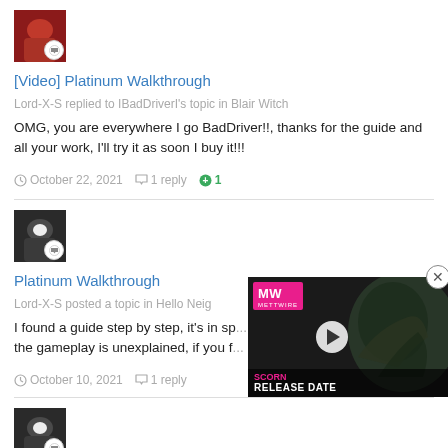[Figure (photo): Avatar thumbnail with chat badge icon, reddish background]
[Video] Platinum Walkthrough
Lord-X-S replied to IBadDriverI's topic in Blair Witch
OMG, you are everywhere I go BadDriver!!, thanks for the guide and all your work, I'll try it as soon I buy it!!!
October 22, 2021   1 reply   +1
[Figure (photo): Avatar thumbnail with chat badge icon, dark background]
Platinum Walkthrough
Lord-X-S posted a topic in Hello Neig...
I found a guide step by step, it's in sp... the gameplay is unexplained, if you f...
October 10, 2021   1 reply
[Figure (screenshot): SCORN Release Date video ad overlay with MW logo]
[Figure (photo): Avatar thumbnail with chat badge icon, dark background]